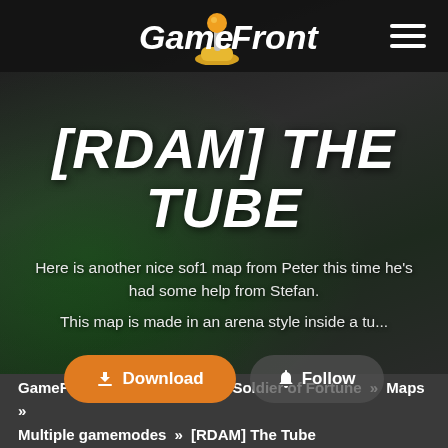[Figure (logo): GameFront logo with orange joystick character on dark navigation bar]
[RDAM] THE TUBE
Here is another nice sof1 map from Peter this time he's had some help from Stefan.
This map is made in an arena style inside a tu...
Download   Follow
GameFront.com » Games » Soldier of Fortune » Maps » Multiple gamemodes » [RDAM] The Tube